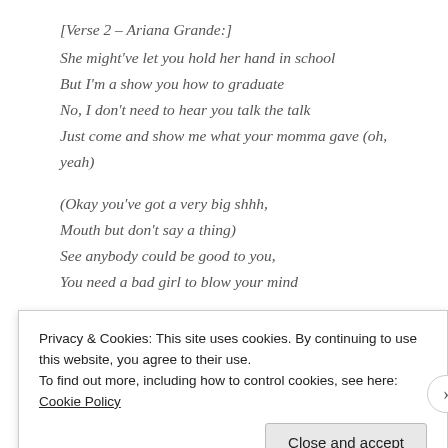[Verse 2 – Ariana Grande:]
She might've let you hold her hand in school
But I'm a show you how to graduate
No, I don't need to hear you talk the talk
Just come and show me what your momma gave (oh, yeah)
(Okay you've got a very big shhh,
Mouth but don't say a thing)
See anybody could be good to you,
You need a bad girl to blow your mind
[Chorus:]
Privacy & Cookies: This site uses cookies. By continuing to use this website, you agree to their use.
To find out more, including how to control cookies, see here: Cookie Policy